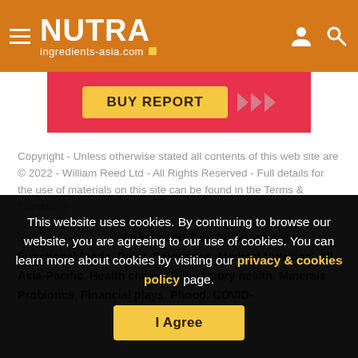NUTRAingredients-asia.com
[Figure (other): Buy report banner button on red background with directional arrows]
Copyright - Unless otherwise stated all contents of this web site are © 2022 - William Reed Ltd - All Rights Reserved - Full details for the use of materials on this site can be found in the Terms & Conditions
RELATED TOPICS: Markets and Trends, Supplements, Functional foods, Dairy, Beverages, Medical Nutrition, All Asia-Pacific, Health claims, Respiratory health, Minerals, Probiotics, Financial plays, Phood, COVID-
This website uses cookies. By continuing to browse our website, you are agreeing to our use of cookies. You can learn more about cookies by visiting our privacy & cookies policy page.